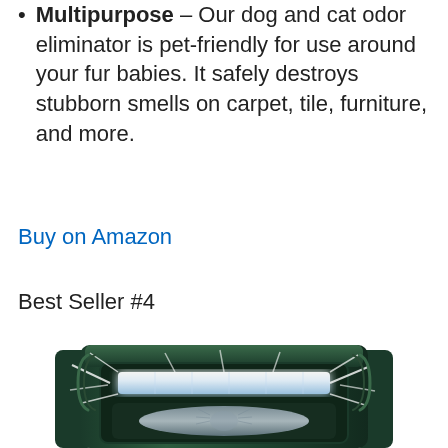Multipurpose – Our dog and cat odor eliminator is pet-friendly for use around your fur babies. It safely destroys stubborn smells on carpet, tile, furniture, and more.
Buy on Amazon
Best Seller #4
[Figure (illustration): Close-up illustration of a dark green electronic pest repeller device with a bright flashing LED light on the front and a motion sensor below it.]